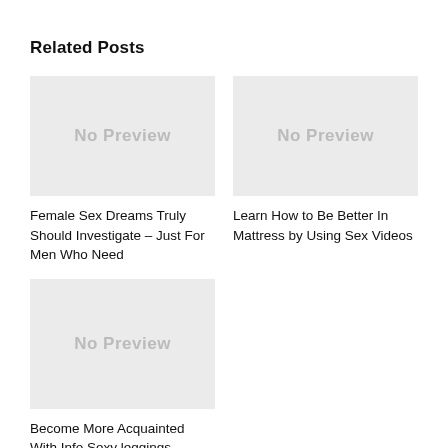Related Posts
[Figure (other): No Preview placeholder image for Female Sex Dreams post]
Female Sex Dreams Truly Should Investigate – Just For Men Who Need
[Figure (other): No Preview placeholder image for Learn How to Be Better post]
Learn How to Be Better In Mattress by Using Sex Videos
[Figure (other): No Preview placeholder image for Become More Acquainted post]
Become More Acquainted With Info Sexy leggings